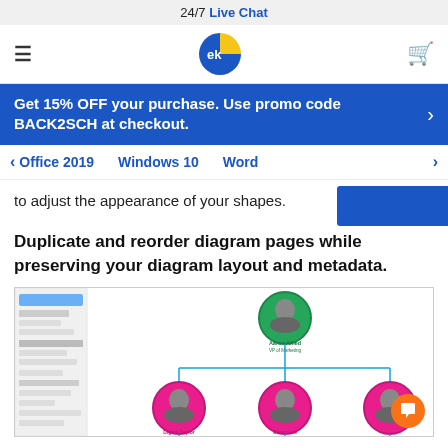24/7 Live Chat
[Figure (logo): EK brand logo — blue and yellow pie-chart style icon with letters 'ek']
Get 15% OFF your purchase. Use promo code BACK2SCH at checkout.
Office 2019   Windows 10   Word
to adjust the appearance of your shapes.
Duplicate and reorder diagram pages while preserving your diagram layout and metadata.
[Figure (screenshot): Organizational chart diagram screenshot showing circular photo nodes connected by lines, with a VP of Marketing at the top (green circle) and subordinates below (pink/magenta circles) including Director of Marketing, Director of Finance, and a partially visible third node.]